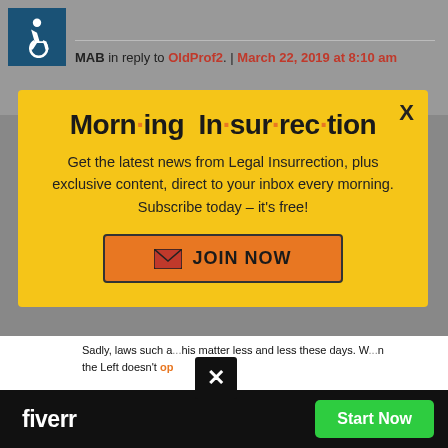MAB in reply to OldProf2. | March 22, 2019 at 8:10 am
[Figure (other): Morning Insurrection newsletter subscription modal popup with yellow background, orange dots in title, body text about subscribing, and JOIN NOW button]
Sadly, laws such a... matter less and less these days. W...n the Left doesn't ...op
[Figure (other): Fiverr advertisement bar with white logo text and green Start Now button on black background]